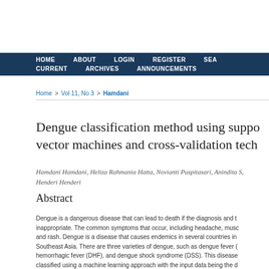HOME  ABOUT  LOGIN  REGISTER  SEA  CURRENT  ARCHIVES  ANNOUNCEMENTS
Home > Vol 11, No 3 > Hamdani
Dengue classification method using support vector machines and cross-validation tech
Hamdani Hamdani, Heliza Rahmania Hatta, Novianti Puspitasari, Anindita S, Henderi Henderi
Abstract
Dengue is a dangerous disease that can lead to death if the diagnosis and treatment is inappropriate. The common symptoms that occur, including headache, muscle pain, and rash. Dengue is a disease that causes endemics in several countries in Southeast Asia. There are three varieties of dengue, such as dengue fever (DF), hemorrhagic fever (DHF), and dengue shock syndrome (DSS). This disease can be classified using a machine learning approach with the input data being the dengue symptoms. This study aims to classify dengue types consisting of three cl...